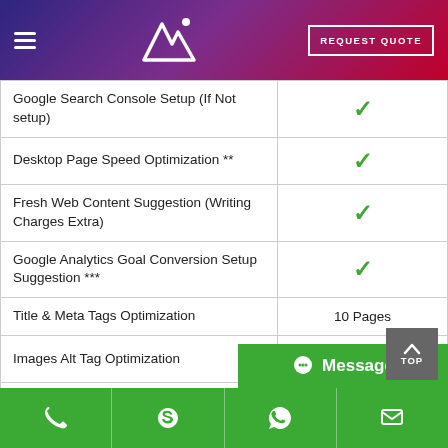Ni logo | REQUEST QUOTE
| Feature | Value |
| --- | --- |
| Google Search Console Setup (If Not setup) | ✓ |
| Desktop Page Speed Optimization ** | ✓ |
| Fresh Web Content Suggestion (Writing Charges Extra) | ✓ |
| Google Analytics Goal Conversion Setup Suggestion *** | ✓ |
| Title & Meta Tags Optimization | 10 Pages |
| Images Alt Tag Optimization | ✓ |
| Address add to Current Website Page[s] if applicable | ✓ |
| KML Sitemap | ✓ |
| hCard Microformat Addition |  |
Phone | Skype | WhatsApp | Message